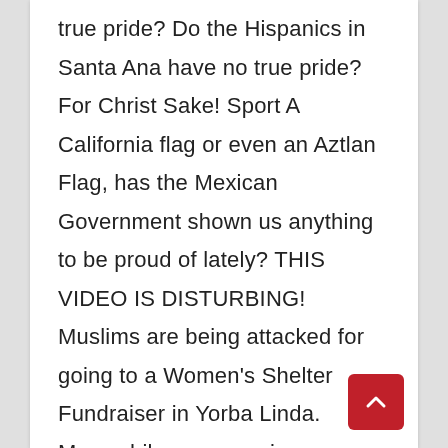true pride? Do the Hispanics in Santa Ana have no true pride? For Christ Sake! Sport A California flag or even an Aztlan Flag, has the Mexican Government shown us anything to be proud of lately? THIS VIDEO IS DISTURBING! Muslims are being attacked for going to a Women's Shelter Fundraiser in Yorba Linda. Meanwhile everyone in
[Figure (other): Red scroll-to-top button with upward chevron arrow, positioned at bottom right]